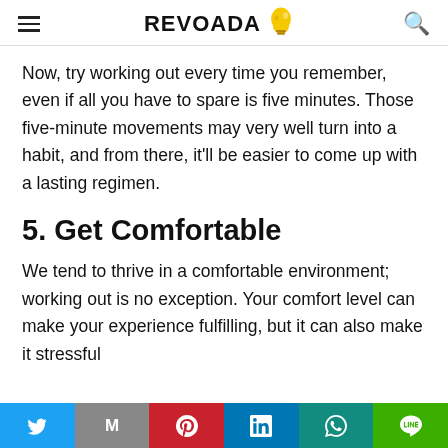REVOADA
Now, try working out every time you remember, even if all you have to spare is five minutes. Those five-minute movements may very well turn into a habit, and from there, it'll be easier to come up with a lasting regimen.
5. Get Comfortable
We tend to thrive in a comfortable environment; working out is no exception. Your comfort level can make your experience fulfilling, but it can also make it stressful